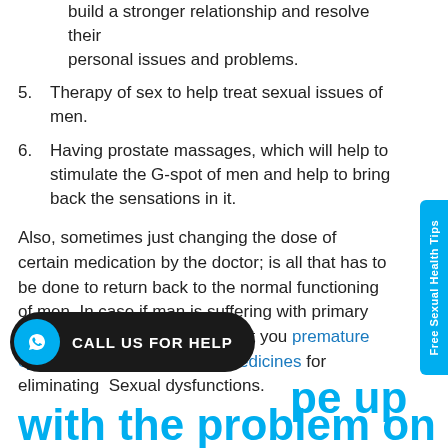build a stronger relationship and resolve their personal issues and problems.
5. Therapy of sex to help treat sexual issues of men.
6. Having prostate massages, which will help to stimulate the G-spot of men and help to bring back the sensations in it.
Also, sometimes just changing the dose of certain medication by the doctor; is all that has to be done to return back to the normal functioning of men. In case if man is suffering with primary anorgasmia doctor can suggest you premature ejaculation medicine or ED medicines for eliminating Sexual dysfunctions.
[Figure (other): Call us for help button with WhatsApp icon]
pe up with the problem on